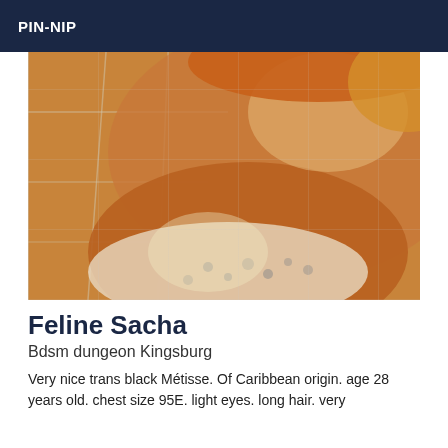PIN-NIP
[Figure (photo): Close-up selfie photo of a person with blonde hair wearing a leopard print top, taken in a bathroom with white tiles visible in background.]
Feline Sacha
Bdsm dungeon Kingsburg
Very nice trans black Métisse. Of Caribbean origin. age 28 years old. chest size 95E. light eyes. long hair. very